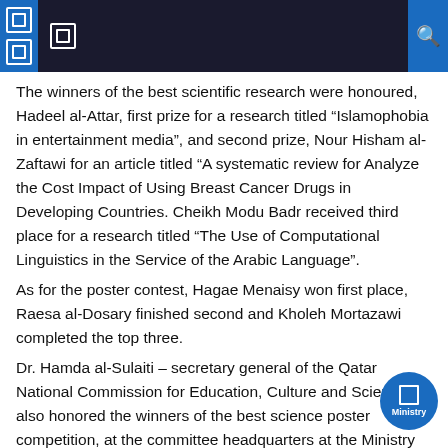Navigation header with icons
The winners of the best scientific research were honoured, Hadeel al-Attar, first prize for a research titled “Islamophobia in entertainment media”, and second prize, Nour Hisham al-Zaftawi for an article titled “A systematic review for Analyze the Cost Impact of Using Breast Cancer Drugs in Developing Countries. Cheikh Modu Badr received third place for a research titled “The Use of Computational Linguistics in the Service of the Arabic Language”.
As for the poster contest, Hagae Menaisy won first place, Raesa al-Dosary finished second and Kholeh Mortazawi completed the top three.
Dr. Hamda al-Sulaiti – secretary general of the Qatar National Commission for Education, Culture and Science – also honored the winners of the best science poster competition, at the committee headquarters at the Ministry of Education and of higher education.